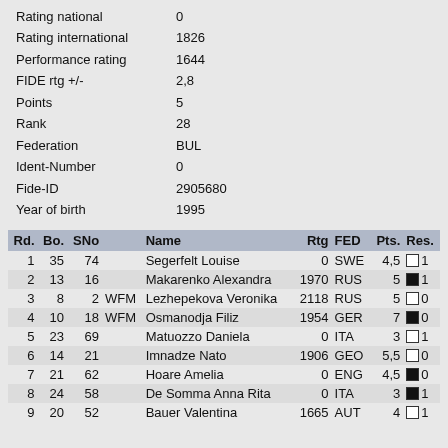|  |  |
| --- | --- |
| Rating national | 0 |
| Rating international | 1826 |
| Performance rating | 1644 |
| FIDE rtg +/- | 2,8 |
| Points | 5 |
| Rank | 28 |
| Federation | BUL |
| Ident-Number | 0 |
| Fide-ID | 2905680 |
| Year of birth | 1995 |
| Rd. | Bo. | SNo |  | Name | Rtg | FED | Pts. | Res. |
| --- | --- | --- | --- | --- | --- | --- | --- | --- |
| 1 | 35 | 74 |  | Segerfelt Louise | 0 | SWE | 4,5 | □ 1 |
| 2 | 13 | 16 |  | Makarenko Alexandra | 1970 | RUS | 5 | ■ 1 |
| 3 | 8 | 2 | WFM | Lezhepekova Veronika | 2118 | RUS | 5 | □ 0 |
| 4 | 10 | 18 | WFM | Osmanodja Filiz | 1954 | GER | 7 | ■ 0 |
| 5 | 23 | 69 |  | Matuozzo Daniela | 0 | ITA | 3 | □ 1 |
| 6 | 14 | 21 |  | Imnadze Nato | 1906 | GEO | 5,5 | □ 0 |
| 7 | 21 | 62 |  | Hoare Amelia | 0 | ENG | 4,5 | ■ 0 |
| 8 | 24 | 58 |  | De Somma Anna Rita | 0 | ITA | 3 | ■ 1 |
| 9 | 20 | 52 |  | Bauer Valentina | 1665 | AUT | 4 | □ 1 |